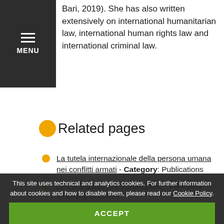MENU
Bari, 2019). She has also written extensively on international humanitarian law, international human rights law and international criminal law.
Related pages
La tutela internazionale della persona umana nei conflitti armati - Category: Publications
NATO-Macrocrimes legal clinic - Category: Teaching activities
Core Crimes - Category: Clusters
This site uses technical and analytics cookies. For further information about cookies and how to disable them, please read our Cookie Policy.
ACCEPT